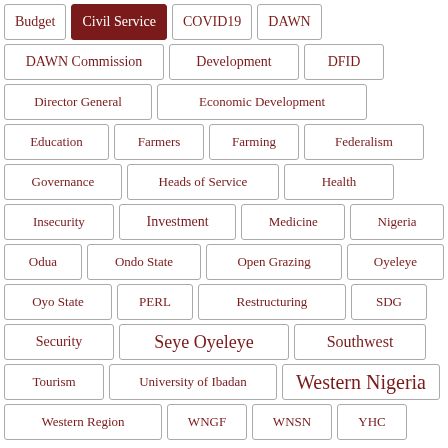Budget
Civil Service
COVID19
DAWN
DAWN Commission
Development
DFID
Director General
Economic Development
Education
Farmers
Farming
Federalism
Governance
Heads of Service
Health
Insecurity
Investment
Medicine
Nigeria
Odua
Ondo State
Open Grazing
Oyeleye
Oyo State
PERL
Restructuring
SDG
Security
Seye Oyeleye
Southwest
Tourism
University of Ibadan
Western Nigeria
Western Region
WNGF
WNSN
YHC